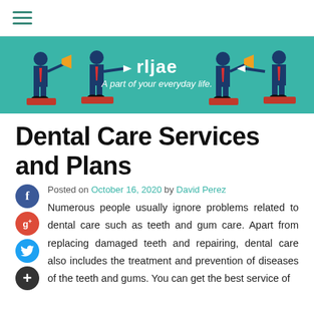Navigation bar with hamburger menu icon
[Figure (illustration): Teal banner with illustrated business people holding signs and megaphones, with text 'rljae' and tagline 'A part of your everyday life.']
Dental Care Services and Plans
Posted on October 16, 2020 by David Perez
Numerous people usually ignore problems related to dental care such as teeth and gum care. Apart from replacing damaged teeth and repairing, dental care also includes the treatment and prevention of diseases of the teeth and gums. You can get the best service of